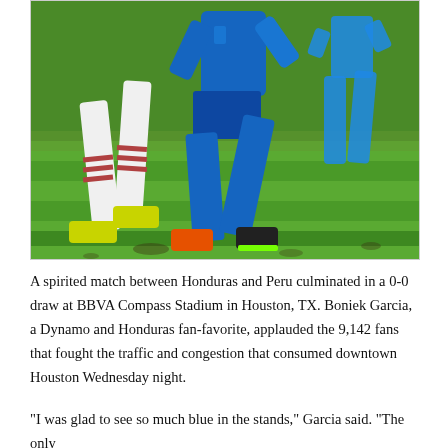[Figure (photo): Soccer players during a match between Honduras and Peru. A player in a blue kit strides forward while a player in white (with red-striped socks and yellow cleats) is visible to the left. A background player in blue is also visible. The setting is a green grass field.]
A spirited match between Honduras and Peru culminated in a 0-0 draw at BBVA Compass Stadium in Houston, TX. Boniek Garcia, a Dynamo and Honduras fan-favorite, applauded the 9,142 fans that fought the traffic and congestion that consumed downtown Houston Wednesday night.
“I was glad to see so much blue in the stands,” Garcia said. “The only